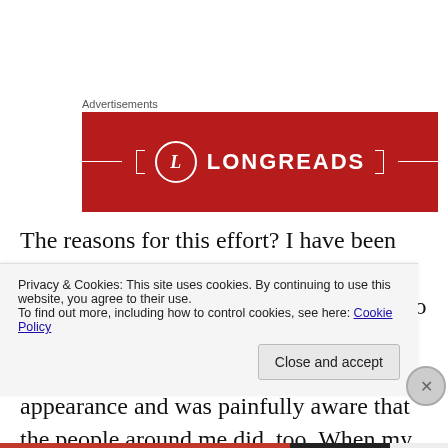Advertisements
[Figure (logo): Longreads advertisement banner: red background with Longreads logo (circle with L) and LONGREADS text in white]
The reasons for this effort? I have been brain- washed. Yep. Also known as, accepting the cultural norm, I had come to associate my OWN impression of my health and wellness with my physical appearance and was painfully aware that the people around me did, too. When my hair
Privacy & Cookies: This site uses cookies. By continuing to use this website, you agree to their use.
To find out more, including how to control cookies, see here: Cookie Policy
Close and accept